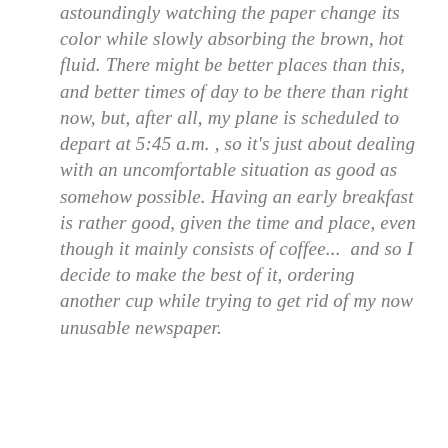astoundingly watching the paper change its color while slowly absorbing the brown, hot fluid. There might be better places than this, and better times of day to be there than right now, but, after all, my plane is scheduled to depart at 5:45 a.m. , so it's just about dealing with an uncomfortable situation as good as somehow possible. Having an early breakfast is rather good, given the time and place, even though it mainly consists of coffee...  and so I decide to make the best of it, ordering another cup while trying to get rid of my now unusable newspaper.